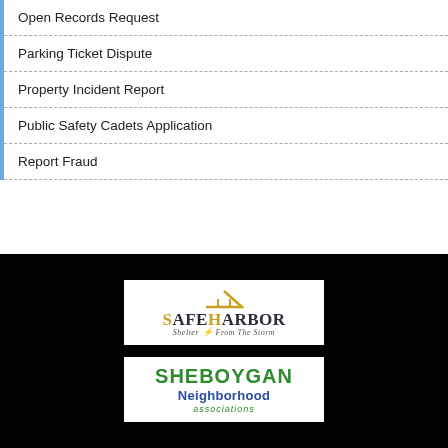Open Records Request
Parking Ticket Dispute
Property Incident Report
Public Safety Cadets Application
Report Fraud
[Figure (logo): SafeHarbor logo with yellow roof icon, text 'SafeHarbor' and subtitle 'Shelter From The Storm']
[Figure (logo): Sheboygan Neighborhood Associations logo with green and blue text]